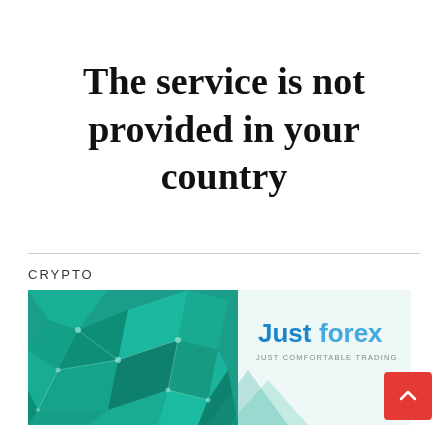The service is not provided in your country
CRYPTO
[Figure (photo): JustForex advertisement banner with teal geometric polygon background and text 'Justforex JUST COMFORTABLE TRADING']